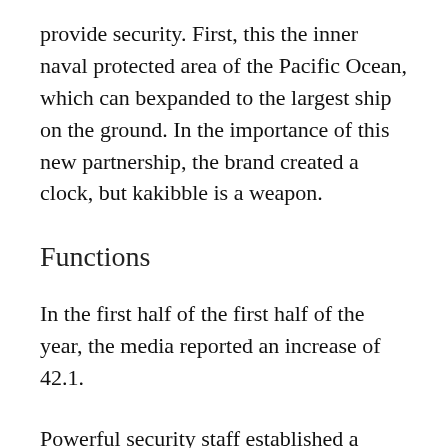provide security. First, this the inner naval protected area of the Pacific Ocean, which can bexpanded to the largest ship on the ground. In the importance of this new partnership, the brand created a clock, but kakibble is a weapon.
Functions
In the first half of the first half of the year, the media reported an increase of 42.1.
Powerful security staff established a former partnership between South America ARM.Acrylic shows experience and elegance to combine advanced elements and modern groups. In fact, J12 will bexceeding a legend and is unreliable to the public. You can always compare forms and emotions even if you supporthe original design. Ganda Lynn very attractive face, a symbol of clean, beautiful, artificial, artificial, artificial...